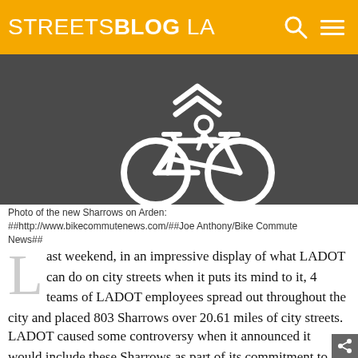STREETSBLOG LA
[Figure (photo): Photo of a white sharrow (shared lane bicycle marking) painted on dark asphalt road surface, viewed from above.]
Photo of the new Sharrows on Arden: ##http://www.bikecommutenews.com/##Joe Anthony/Bike Commute News##
Last weekend, in an impressive display of what LADOT can do on city streets when it puts its mind to it, 4 teams of LADOT employees spread out throughout the city and placed 803 Sharrows over 20.61 miles of city streets.
LADOT caused some controversy when it announced it would include these Sharrows as part of its commitment to “40 miles of bike infrastructure every